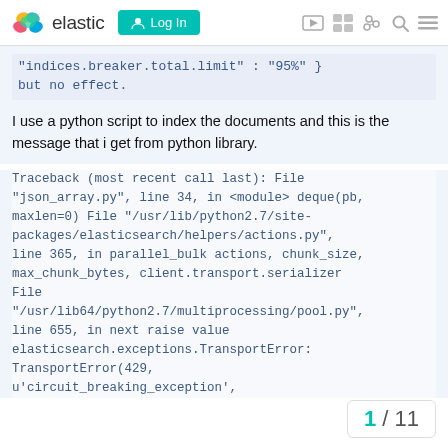elastic | Log In
"indices.breaker.total.limit" : "95%" }
but no effect.
I use a python script to index the documents and this is the message that i get from python library.
Traceback (most recent call last): File "json_array.py", line 34, in <module> deque(pb, maxlen=0) File "/usr/lib/python2.7/site-packages/elasticsearch/helpers/actions.py", line 365, in parallel_bulk actions, chunk_size, max_chunk_bytes, client.transport.serializer File "/usr/lib64/python2.7/multiprocessing/pool.py", line 655, in next raise value elasticsearch.exceptions.TransportError: TransportError(429, u'circuit_breaking_exception',
1 / 11